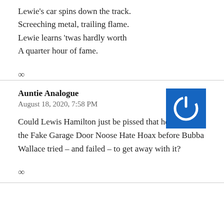Lewie's car spins down the track.
Screeching metal, trailing flame.
Lewie learns 'twas hardly worth
A quarter hour of fame.
∞
Auntie Analogue
August 18, 2020, 7:58 PM
[Figure (illustration): Blue square avatar with white power button icon]
Could Lewis Hamilton just be pissed that he didn't pull the Fake Garage Door Noose Hate Hoax before Bubba Wallace tried – and failed – to get away with it?
∞